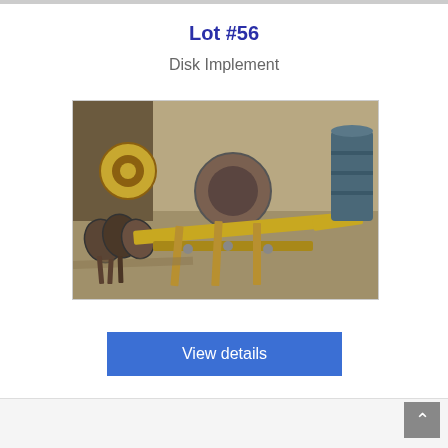Lot #56
Disk Implement
[Figure (photo): Photograph of a disk implement farm equipment laid on a gravel ground, showing rusty yellow metal frame with disk blades, with a barrel and other equipment visible in the background.]
View details
High Bid
$ 525